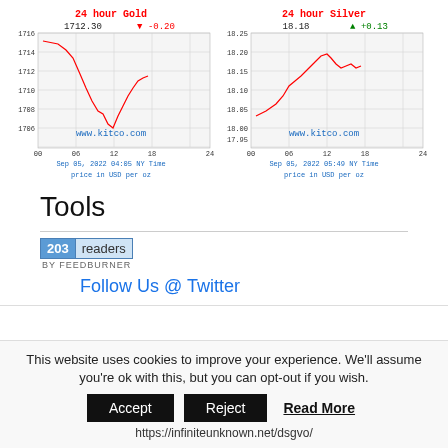[Figure (line-chart): 24 hour Gold price chart. Current: 1712.30, Change: -0.20. Sep 05, 2022 04:05 NY Time. Price in USD per oz. www.kitco.com]
[Figure (line-chart): 24 hour Silver price chart. Current: 18.18, Change: +0.13. Sep 05, 2022 05:49 NY Time. Price in USD per oz. www.kitco.com]
Tools
[Figure (other): FeedBurner widget showing 203 readers]
Follow Us @ Twitter
This website uses cookies to improve your experience. We'll assume you're ok with this, but you can opt-out if you wish.
Accept | Reject | Read More
https://infiniteunknown.net/dsgvo/